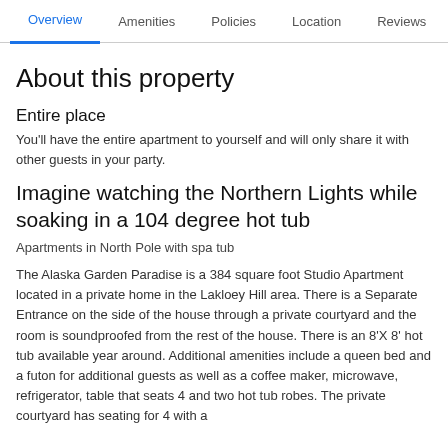Overview  Amenities  Policies  Location  Reviews
About this property
Entire place
You'll have the entire apartment to yourself and will only share it with other guests in your party.
Imagine watching the Northern Lights while soaking in a 104 degree hot tub
Apartments in North Pole with spa tub
The Alaska Garden Paradise is a 384 square foot Studio Apartment located in a private home in the Lakloey Hill area. There is a Separate Entrance on the side of the house through a private courtyard and the room is soundproofed from the rest of the house. There is an 8'X 8' hot tub available year around. Additional amenities include a queen bed and a futon for additional guests as well as a coffee maker, microwave, refrigerator, table that seats 4 and two hot tub robes. The private courtyard has seating for 4 with a